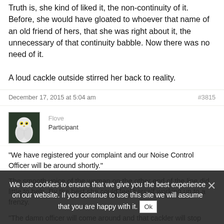Truth is, she kind of liked it, the non-continuity of it. Before, she would have gloated to whoever that name of an old friend of hers, that she was right about it, the unnecessary of that continuity babble. Now there was no need of it.

A loud cackle outside stirred her back to reality.
December 17, 2015 at 5:04 am    #3815
[Figure (photo): Avatar image of a white snowy owl against a dark background]
Flove
Participant
“We have registered your complaint and our Noise Control Officer will be around shortly.”

The smooth voice of the woman on the other end of the line did little to help. By the best she could feel herself working up to a frenzy.

“The damn officer will come around and that cackler will stop cackling and your officer will say: we can’t do anything about the cackling if we
We use cookies to ensure that we give you the best experience on our website. If you continue to use this site we will assume that you are happy with it.